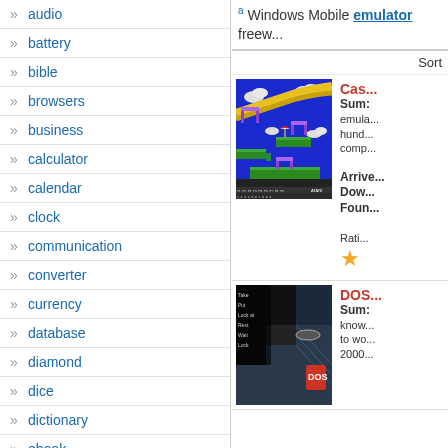audio
battery
bible
browsers
business
calculator
calendar
clock
communication
converter
currency
database
diamond
dice
dictionary
ebook
educational
emulators
a Windows Mobile emulator freew...
Sort
[Figure (screenshot): Atari emulator game screenshot showing a colorful platform game with blue sky background, clouds, and game UI at the bottom]
Cas... Summary: emula... hund... comp... Arrive... Dow... Foun... Rating: (star)
[Figure (screenshot): DOS emulator screenshot showing a dark corridor with Take Put Lock at Rest Wait Lock text overlay on a 3D rendered scene]